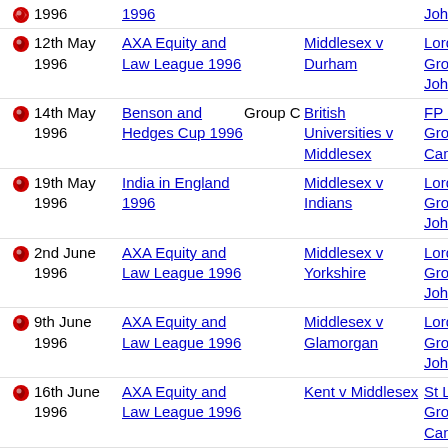1996 | AXA Equity and Law League 1996 | | | John's Wo...
12th May 1996 | AXA Equity and Law League 1996 | | Middlesex v Durham | Lord's Cr... Ground, S... John's Wo...
14th May 1996 | Benson and Hedges Cup 1996 | Group C | British Universities v Middlesex | FP Fenne... Ground, Cambridge...
19th May 1996 | India in England 1996 | | Middlesex v Indians | Lord's Cr... Ground, S... John's Wo...
2nd June 1996 | AXA Equity and Law League 1996 | | Middlesex v Yorkshire | Lord's Cr... Ground, S... John's Wo...
9th June 1996 | AXA Equity and Law League 1996 | | Middlesex v Glamorgan | Lord's Cr... Ground, S... John's Wo...
16th June 1996 | AXA Equity and Law League 1996 | | Kent v Middlesex | St Lawren... Ground, Canterbury...
23rd June 1996 | AXA Equity and Law League 1996 | | Derbyshire v Middlesex | County G... Derby
25th June 1996 | National Westminster... | 1st Round | Cumberland v Middlesex | Edenside, Carlisle...